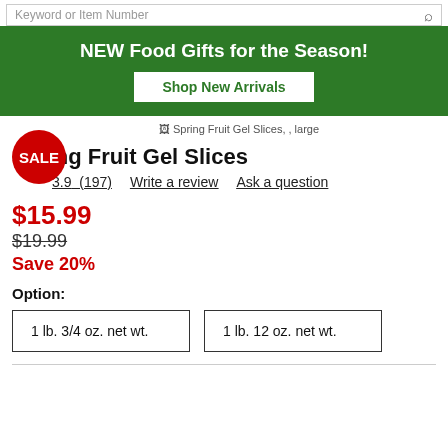Keyword or Item Number
NEW Food Gifts for the Season!
Shop New Arrivals
[Figure (photo): Spring Fruit Gel Slices product image placeholder]
Spring Fruit Gel Slices
3.9 (197) Write a review Ask a question
$15.99
$19.99
Save 20%
Option:
1 lb. 3/4 oz. net wt.   1 lb. 12 oz. net wt.